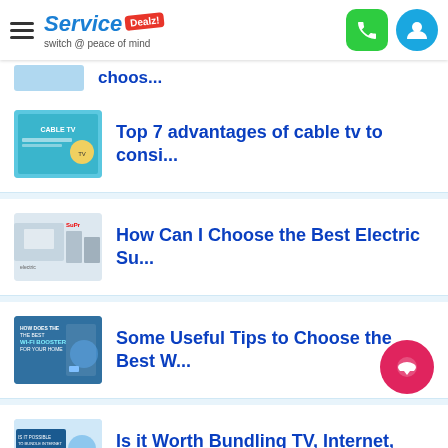ServiceDealz — switch @ peace of mind
Top 7 advantages of cable tv to consi...
How Can I Choose the Best Electric Su...
Some Useful Tips to Choose the Best W...
Is it Worth Bundling TV, Internet, an...
Which Type of Internet